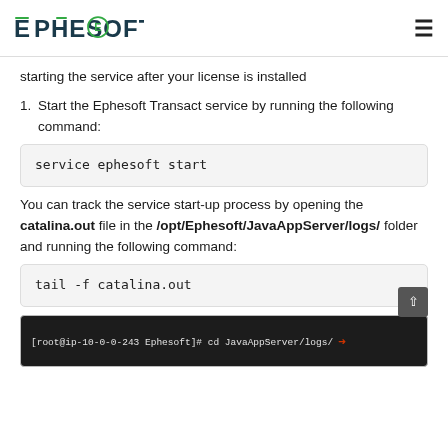Ephesoft
starting the service after your license is installed
1. Start the Ephesoft Transact service by running the following command:
service ephesoft start
You can track the service start-up process by opening the catalina.out file in the /opt/Ephesoft/JavaAppServer/logs/ folder and running the following command:
tail -f catalina.out
[Figure (screenshot): Terminal screenshot showing command: [root@ip-10-0-0-243 Ephesoft]# cd JavaAppServer/logs/ with a red arrow pointing to it]